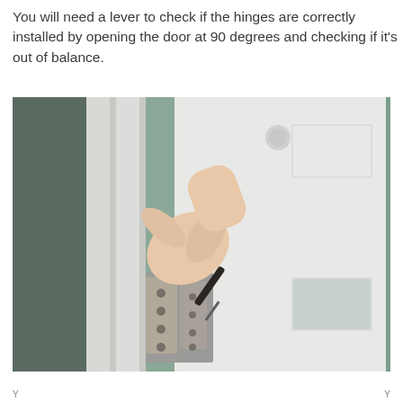You will need a lever to check if the hinges are correctly installed by opening the door at 90 degrees and checking if it's out of balance.
[Figure (photo): A hand holding a screwdriver adjusting a door hinge. The scene shows a white door frame with a metal hinge plate visible, and the door is open at roughly 90 degrees. The background shows a teal/green wall.]
Y                              Y